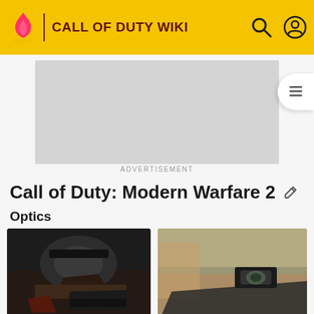CALL OF DUTY WIKI
[Figure (screenshot): Advertisement placeholder banner (gray box)]
ADVERTISEMENT
Call of Duty: Modern Warfare 2
Optics
[Figure (photo): Red Dot Sight on a weapon in Call of Duty: Modern Warfare 2 (close-up dark image)]
[Figure (photo): Red Dot Sight on the non-grip side of a weapon in Call of Duty: Modern Warfare 2 (outdoor desert scene)]
Red Dot Sight
Red Dot Sight on the non-grip